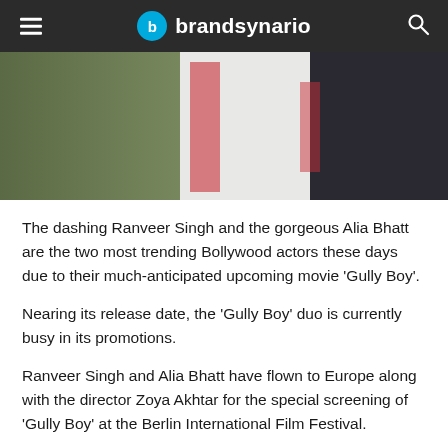brandsynario
[Figure (photo): Two people standing together, one wearing a light green/olive tracksuit and another in a white tracksuit with red stripes, photographed at night]
The dashing Ranveer Singh and the gorgeous Alia Bhatt are the two most trending Bollywood actors these days due to their much-anticipated upcoming movie ‘Gully Boy’.
Nearing its release date, the ‘Gully Boy’ duo is currently busy in its promotions.
Ranveer Singh and Alia Bhatt have flown to Europe along with the director Zoya Akhtar for the special screening of ‘Gully Boy’ at the Berlin International Film Festival.